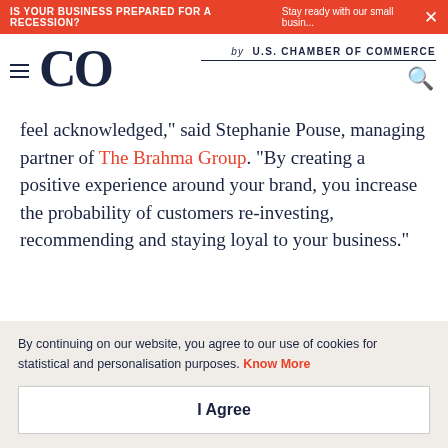IS YOUR BUSINESS PREPARED FOR A RECESSION? Stay ready with our small busin... ×
[Figure (logo): CO by U.S. Chamber of Commerce logo with hamburger menu and search icon]
feel acknowledged," said Stephanie Pouse, managing partner of The Brahma Group. "By creating a positive experience around your brand, you increase the probability of customers re-investing, recommending and staying loyal to your business."
By continuing on our website, you agree to our use of cookies for statistical and personalisation purposes. Know More
I Agree